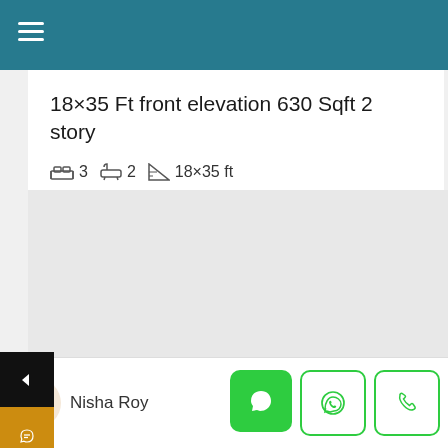Navigation header with hamburger menu
18×35 Ft front elevation 630 Sqft 2 story
🛏 3   🚿 2   📐 18×35 ft
[Figure (screenshot): Gray content/image area placeholder]
Nisha Roy — MYHOUSEMAP logo with chat, WhatsApp, and call buttons